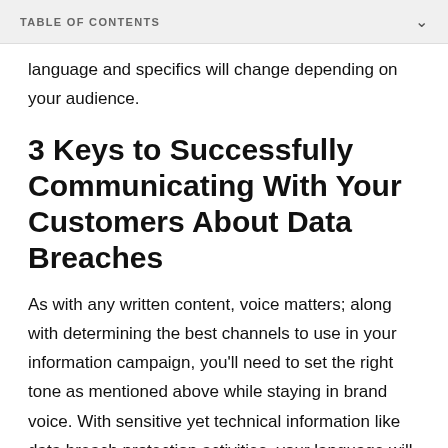TABLE OF CONTENTS
language and specifics will change depending on your audience.
3 Keys to Successfully Communicating With Your Customers About Data Breaches
As with any written content, voice matters; along with determining the best channels to use in your information campaign, you’ll need to set the right tone as mentioned above while staying in brand voice. With sensitive yet technical information like data breach protection activities, your language will change as a result of the